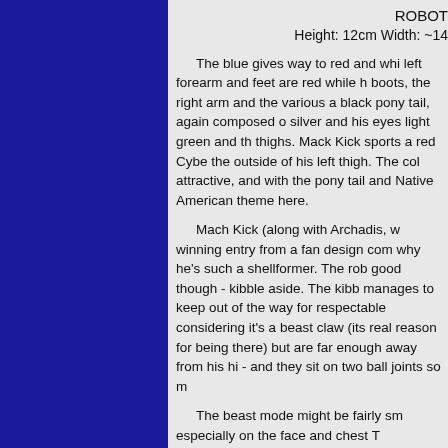ROBOT
Height: 12cm Width: ~14
The blue gives way to red and whi left forearm and feet are red while h boots, the right arm and the various a black pony tail, again composed o silver and his eyes light green and th thighs. Mack Kick sports a red Cybe the outside of his left thigh. The col attractive, and with the pony tail and Native American theme here.
Mach Kick (along with Archadis, w winning entry from a fan design com why he's such a shellformer. The rob good though - kibble aside. The kibb manages to keep out of the way for respectable considering it's a beast claw (its real reason for being there) but are far enough away from his hi - and they sit on two ball joints so m
The beast mode might be fairly sm especially on the face and chest T